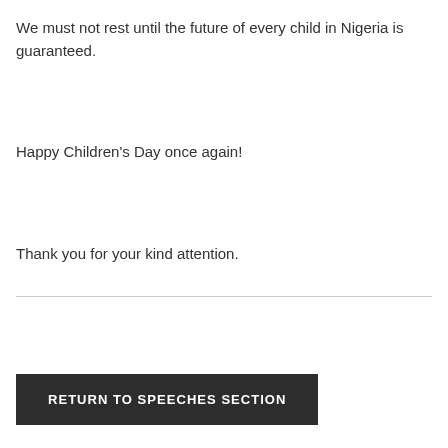We must not rest until the future of every child in Nigeria is guaranteed.
Happy Children's Day once again!
Thank you for your kind attention.
RETURN TO SPEECHES SECTION